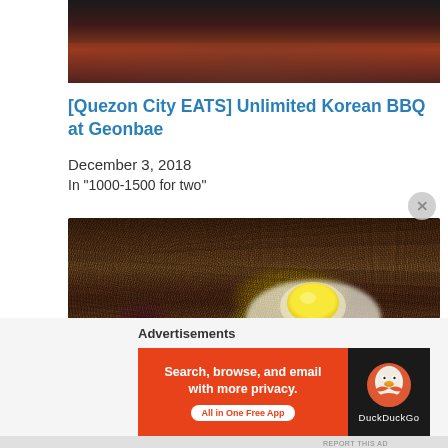[Figure (photo): Close-up photo of a dark-colored food dish (likely Korean BBQ meat) with red sauce on a dark plate, partially visible at top of page]
[Quezon City EATS] Unlimited Korean BBQ at Geonbae
December 3, 2018
In "1000-1500 for two"
[Figure (photo): Close-up photo of Korean BBQ minced meat dish on a hot plate with a raw egg yolk placed in the center, surrounded by browned ground meat with visible red onion pieces]
Advertisements
[Figure (other): DuckDuckGo advertisement banner with orange background on the left saying 'Search, browse, and email with more privacy. All in One Free App' and dark background on right with DuckDuckGo duck logo and 'DuckDuckGo' text]